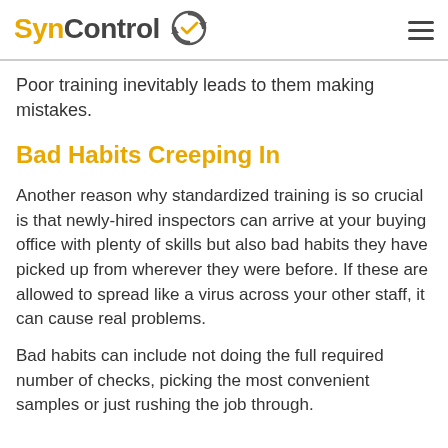SynControl
Poor training inevitably leads to them making mistakes.
Bad Habits Creeping In
Another reason why standardized training is so crucial is that newly-hired inspectors can arrive at your buying office with plenty of skills but also bad habits they have picked up from wherever they were before. If these are allowed to spread like a virus across your other staff, it can cause real problems.
Bad habits can include not doing the full required number of checks, picking the most convenient samples or just rushing the job through.